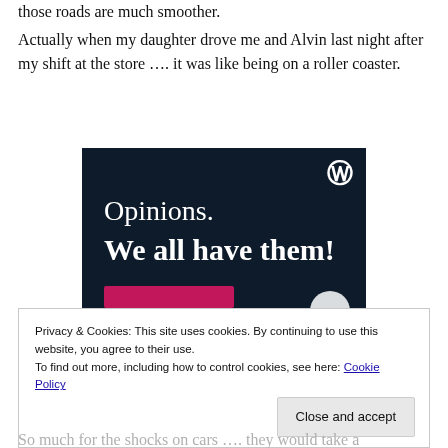those roads are much smoother.
Actually when my daughter drove me and Alvin last night after my shift at the store …. it was like being on a roller coaster.
[Figure (illustration): Dark navy blue advertisement banner with WordPress logo (W) in top right corner. White serif text reads 'Opinions.' on first line, then bold 'We all have them!' below. Pink/red button at the bottom. White circular element at bottom right.]
Privacy & Cookies: This site uses cookies. By continuing to use this website, you agree to their use.
To find out more, including how to control cookies, see here: Cookie Policy
So much for the shocks on cars …. they would take a